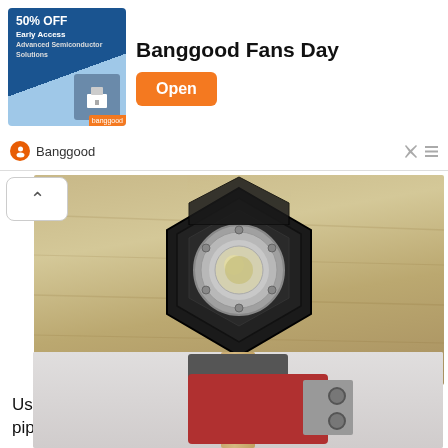[Figure (screenshot): Advertisement banner for Banggood Fans Day. Shows a blue promotional image with '50% OFF Early Access' text and a 3D printer image on the left, 'Banggood Fans Day' title in large bold text, an orange 'Open' button on the right, and 'Banggood' sponsor name with logo below.]
[Figure (photo): Close-up top-down view of a hexagonal black worklight head showing a circular LED lens in the center with a silver/chrome ring and screws, placed on a light wood surface.]
Using the inner jaws, the worklight can be clamped from pipes, or in this case a hammer.
[Figure (photo): Partial view of a red clamp holding a hammer handle, shown from the side on a light background.]